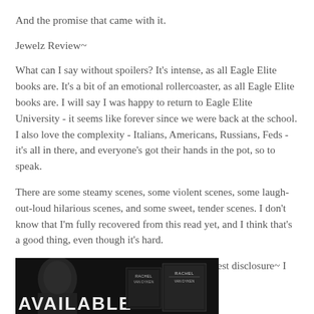And the promise that came with it.
Jewelz Review~
What can I say without spoilers? It's intense, as all Eagle Elite books are. It's a bit of an emotional rollercoaster, as all Eagle Elite books are. I will say I was happy to return to Eagle Elite University - it seems like forever since we were back at the school. I also love the complexity - Italians, Americans, Russians, Feds - it's all in there, and everyone's got their hands in the pot, so to speak.
There are some steamy scenes, some violent scenes, some laugh-out-loud hilarious scenes, and some sweet, tender scenes. I don't know that I'm fully recovered from this read yet, and I think that's a good thing, even though it's hard.
FYI~ sex, violence, language - this is mafia honest disclosure~ I received a review copy
[Figure (photo): Black and white image showing a man and book cover(s) with text 'AVAILABLE' visible at the bottom, along with Rachel Van Dyken book covers]